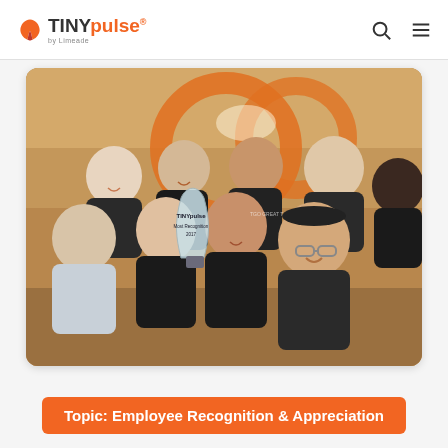TINYpulse by Limeade
[Figure (photo): Group photo of approximately 9 employees smiling, posing together in an office with an orange logo on the wall. One person in the front holds a TINYpulse award trophy with text 'TINYpulse Most Recognition 2017'.]
Topic: Employee Recognition & Appreciation